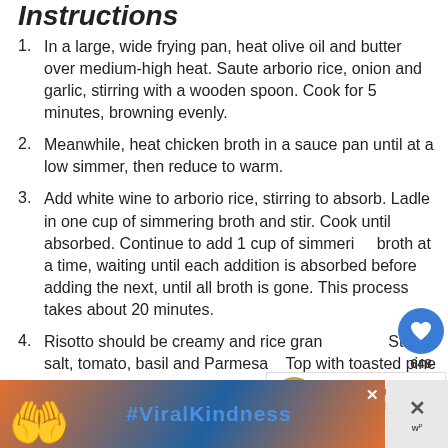Instructions
In a large, wide frying pan, heat olive oil and butter over medium-high heat. Saute arborio rice, onion and garlic, stirring with a wooden spoon. Cook for 5 minutes, browning evenly.
Meanwhile, heat chicken broth in a sauce pan until at a low simmer, then reduce to warm.
Add white wine to arborio rice, stirring to absorb. Ladle in one cup of simmering broth and stir. Cook until absorbed. Continue to add 1 cup of simmering broth at a time, waiting until each addition is absorbed before adding the next, until all broth is gone. This process takes about 20 minutes.
Risotto should be creamy and rice grains tender. Stir in salt, tomato, basil and Parmesan. Top with toasted pine nuts.
[Figure (screenshot): Social widget with heart icon showing 648 likes and a share button]
[Figure (screenshot): What's Next panel with image of Sage Parsnip Risotto]
[Figure (screenshot): Advertisement banner with #ViralKindness text and heart hands silhouette]